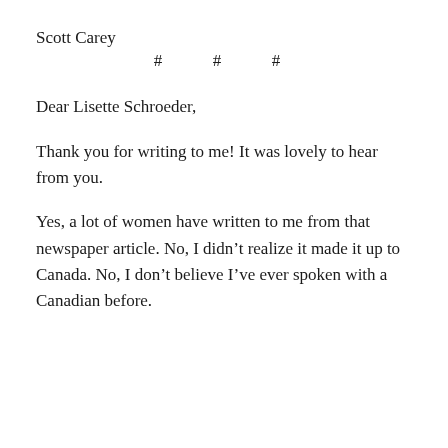Scott Carey
# # #
Dear Lisette Schroeder,
Thank you for writing to me! It was lovely to hear from you.
Yes, a lot of women have written to me from that newspaper article. No, I didn’t realize it made it up to Canada. No, I don’t believe I’ve ever spoken with a Canadian before.